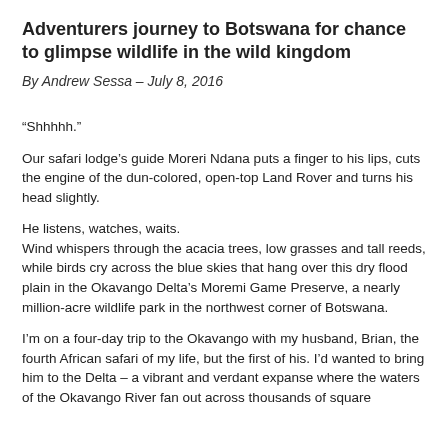Adventurers journey to Botswana for chance to glimpse wildlife in the wild kingdom
By Andrew Sessa – July 8, 2016
“Shhhhh.”
Our safari lodge’s guide Moreri Ndana puts a finger to his lips, cuts the engine of the dun-colored, open-top Land Rover and turns his head slightly.
He listens, watches, waits.
Wind whispers through the acacia trees, low grasses and tall reeds, while birds cry across the blue skies that hang over this dry flood plain in the Okavango Delta’s Moremi Game Preserve, a nearly million-acre wildlife park in the northwest corner of Botswana.
I’m on a four-day trip to the Okavango with my husband, Brian, the fourth African safari of my life, but the first of his. I’d wanted to bring him to the Delta – a vibrant and verdant expanse where the waters of the Okavango River fan out across thousands of square